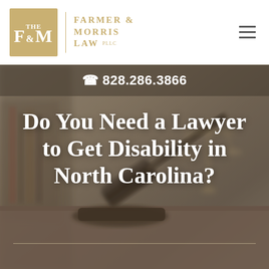[Figure (logo): Farmer & Morris Law PLLC logo: gold square with F&M monogram, vertical divider, firm name in gold serif text]
828.286.3866
Do You Need a Lawyer to Get Disability in North Carolina?
[Figure (photo): Blurred background photo of a judge's gavel on a wooden surface with scales of justice in the background]